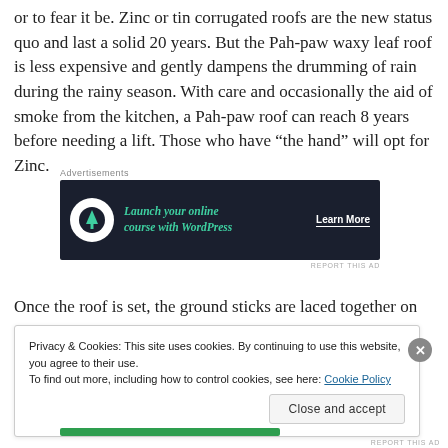or to fear it be. Zinc or tin corrugated roofs are the new status quo and last a solid 20 years. But the Pah-paw waxy leaf roof is less expensive and gently dampens the drumming of rain during the rainy season. With care and occasionally the aid of smoke from the kitchen, a Pah-paw roof can reach 8 years before needing a lift. Those who have “the hand” will opt for Zinc.
[Figure (screenshot): Advertisement banner: dark navy background with bonsai tree circle icon, green italic text 'Launch your online course with WordPress', white 'Learn More' button with underline. Labeled 'Advertisements' above and 'REPORT THIS AD' below.]
Once the roof is set, the ground sticks are laced together on
Privacy & Cookies: This site uses cookies. By continuing to use this website, you agree to their use.
To find out more, including how to control cookies, see here: Cookie Policy
Close and accept